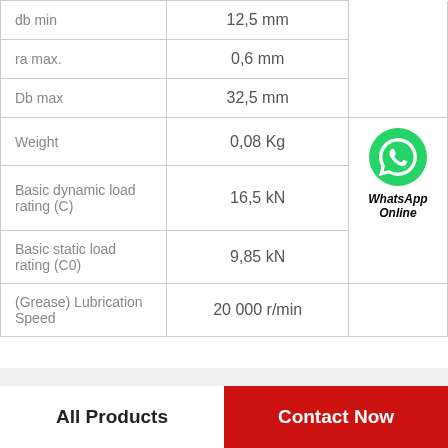| Parameter | Value |
| --- | --- |
| db min | 12,5 mm |
| ra max. | 0,6 mm |
| Db max | 32,5 mm |
| Weight | 0,08 Kg |
| Basic dynamic load rating (C) | 16,5 kN |
| Basic static load rating (C0) | 9,85 kN |
| (Grease) Lubrication Speed | 20 000 r/min |
[Figure (logo): WhatsApp Online icon — green circle with white phone handset, labeled 'WhatsApp Online' in bold italic]
All Products
Contact Now